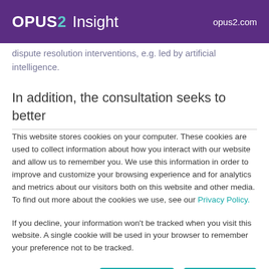OPUS2 Insight   opus2.com
dispute resolution interventions, e.g. led by artificial intelligence.
In addition, the consultation seeks to better
This website stores cookies on your computer. These cookies are used to collect information about how you interact with our website and allow us to remember you. We use this information in order to improve and customize your browsing experience and for analytics and metrics about our visitors both on this website and other media. To find out more about the cookies we use, see our Privacy Policy.
If you decline, your information won't be tracked when you visit this website. A single cookie will be used in your browser to remember your preference not to be tracked.
Cookie preferences   Accept   Decline